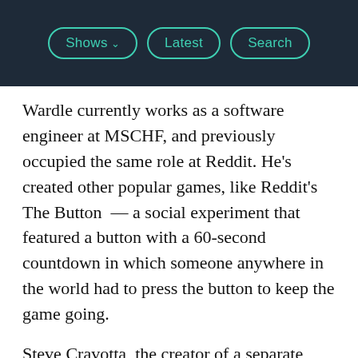Shows | Latest | Search
Wardle currently works as a software engineer at MSCHF, and previously occupied the same role at Reddit. He's created other popular games, like Reddit's The Button — a social experiment that featured a button with a 60-second countdown in which someone anywhere in the world had to press the button to keep the game going.
Steve Cravotta, the creator of a separate word game named Wordle! where players guess anagrams, saw downloads spike after the success of the web-based game. (Cravotta's app had already existed prior to the launch of Wordle.)
Cravotta reached out to Wardle about donating the proceeds from in-app purchases, and the two decided to